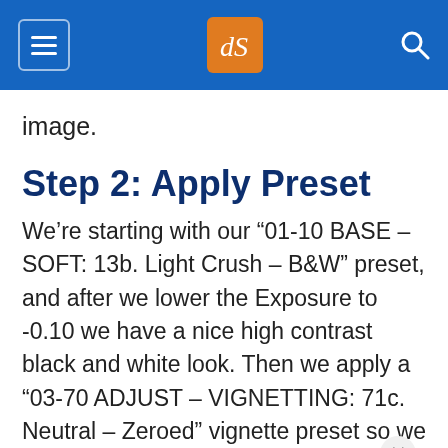dPS
image.
Step 2: Apply Preset
We’re starting with our “01-10 BASE – SOFT: 13b. Light Crush – B&W” preset, and after we lower the Exposure to -0.10 we have a nice high contrast black and white look. Then we apply a “03-70 ADJUST – VIGNETTING: 71c. Neutral – Zeroed” vignette preset so we can get a subtle